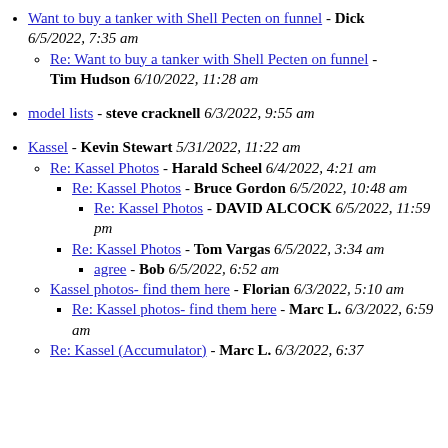Want to buy a tanker with Shell Pecten on funnel - Dick 6/5/2022, 7:35 am
Re: Want to buy a tanker with Shell Pecten on funnel - Tim Hudson 6/10/2022, 11:28 am
model lists - steve cracknell 6/3/2022, 9:55 am
Kassel - Kevin Stewart 5/31/2022, 11:22 am
Re: Kassel Photos - Harald Scheel 6/4/2022, 4:21 am
Re: Kassel Photos - Bruce Gordon 6/5/2022, 10:48 am
Re: Kassel Photos - DAVID ALCOCK 6/5/2022, 11:59 pm
Re: Kassel Photos - Tom Vargas 6/5/2022, 3:34 am
agree - Bob 6/5/2022, 6:52 am
Kassel photos- find them here - Florian 6/3/2022, 5:10 am
Re: Kassel photos- find them here - Marc L. 6/3/2022, 6:59 am
Re: Kassel (Accumulator) - Marc L. 6/3/2022, 6:37...